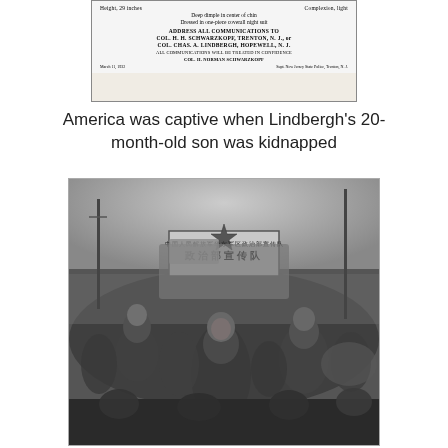[Figure (photo): Partial view of a wanted/missing persons notice (bottom portion visible), referencing Col. H. H. Schwarzkopf, Trenton, N.J. and Col. Chas. A. Lindbergh, Hopewell, N.J., dated March 11, 1932. Text visible: Height, 29 inches / Complexion, light / Deep dimple in center of chin / Dressed in one-piece coverall night suit / ADDRESS ALL COMMUNICATIONS TO / COL. H. H. SCHWARZKOPF, TRENTON, N.J., or / COL. CHAS. A. LINDBERGH, HOPEWELL, N.J. / ALL COMMUNICATIONS WILL BE TREATED IN CONFIDENCE / COL. H. NORMAN SCHWARZKOPF / March 11, 1932 / Supt. New Jersey State Police, Trenton, N.J.]
America was captive when Lindbergh's 20-month-old son was kidnapped
[Figure (photo): Black and white photograph of Chinese soldiers marching in a large crowd, with a banner displaying Chinese characters visible in the background.]